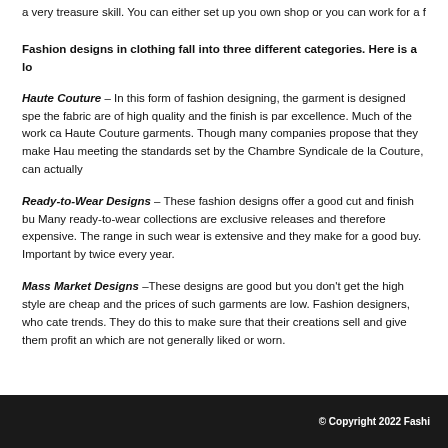a very treasure skill. You can either set up you own shop or you can work for a f
Fashion designs in clothing fall into three different categories. Here is a lo
Haute Couture – In this form of fashion designing, the garment is designed spe the fabric are of high quality and the finish is par excellence. Much of the work ca Haute Couture garments. Though many companies propose that they make Hau meeting the standards set by the Chambre Syndicale de la Couture, can actually
Ready-to-Wear Designs – These fashion designs offer a good cut and finish bu Many ready-to-wear collections are exclusive releases and therefore expensive. The range in such wear is extensive and they make for a good buy. Important by twice every year.
Mass Market Designs –These designs are good but you don't get the high style are cheap and the prices of such garments are low. Fashion designers, who cate trends. They do this to make sure that their creations sell and give them profit an which are not generally liked or worn.
© Copyright 2022 Fashi